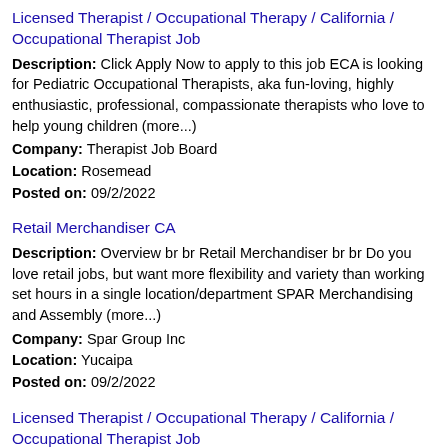Licensed Therapist / Occupational Therapy / California / Occupational Therapist Job
Description: Click Apply Now to apply to this job ECA is looking for Pediatric Occupational Therapists, aka fun-loving, highly enthusiastic, professional, compassionate therapists who love to help young children (more...)
Company: Therapist Job Board
Location: Rosemead
Posted on: 09/2/2022
Retail Merchandiser CA
Description: Overview br br Retail Merchandiser br br Do you love retail jobs, but want more flexibility and variety than working set hours in a single location/department SPAR Merchandising and Assembly (more...)
Company: Spar Group Inc
Location: Yucaipa
Posted on: 09/2/2022
Licensed Therapist / Occupational Therapy / California / Occupational Therapist Job
Description: Click Apply Now to apply to this job ECA is passionate about changing the world one child at a time, and through that vision, we are expanding. ECA currently has a rewarding